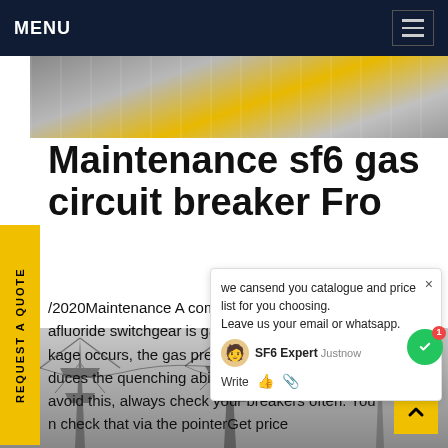MENU
[Figure (photo): Partial photo of electrical switchgear equipment with yellow structural elements visible]
Maintenance sf6 gas circuit breaker Fro...
/2020Maintenance A common problem with sulfur hexafluoride switchgear is gas leakage. When leakage occurs, the gas pressure decreases, which reduces the quenching ability of the circuit breaker. To avoid this, always check your breakers often. You can check that via the pointerGet price
[Figure (screenshot): Chat popup overlay with SF6 Expert agent offering to send catalogue and price list, with chat interface elements]
[Figure (photo): Bottom image of electrical power transmission towers/pylons]
REQUEST A QUOTE